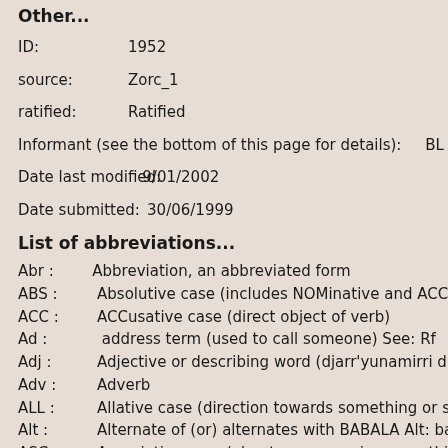Other...
ID:      1952
source:    Zorc_1
ratified:    Ratified
Informant (see the bottom of this page for details):      BL
Date last modified:      9/01/2002
Date submitted:      30/06/1999
List of abbreviations...
Abr :       Abbreviation, an abbreviated form
ABS :       Absolutive case (includes NOMinative and ACCusative)
ACC :       ACCusative case (direct object of verb)
Ad :        address term (used to call someone) See: Rf
Adj :       Adjective or describing word (djarr'yunamirri dhäruk)
Adv :       Adverb
ALL :       Allative case (direction towards something or someone)
Alt :       Alternate of (or) alternates with BABALA Alt: bawala
ASC :       Associative case (about or concerning something or someone)
B :         Both moieties, used by most or all (bukmak) speakers
B :         Brother (in KINship terms)